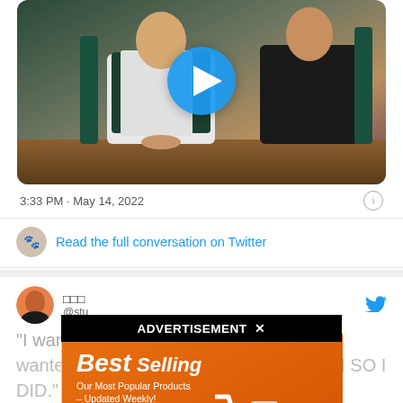[Figure (screenshot): Video thumbnail showing two people seated at a table, with a play button overlay]
3:33 PM · May 14, 2022
Read the full conversation on Twitter
1.6K   Reply   Copy link
[Figure (screenshot): ADVERTISEMENT × banner overlay]
[Figure (screenshot): AliExpress BestSelling advertisement banner]
"I wanted ... ok an audition and came. I wanted to debut so I did, I wanted to WIN SO I DID." Jimin, you'll